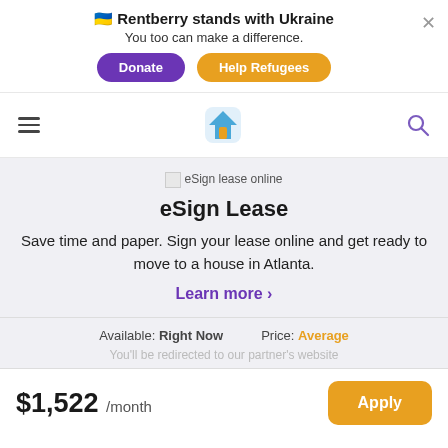🇺🇦 Rentberry stands with Ukraine
You too can make a difference.
[Donate] [Help Refugees]
[Figure (screenshot): Navigation bar with hamburger menu, Rentberry house logo, and search icon]
eSign lease online
eSign Lease
Save time and paper. Sign your lease online and get ready to move to a house in Atlanta.
Learn more >
Available: Right Now   Price: Average
You'll be redirected to our partner's website
$1,522 /month  [Apply]